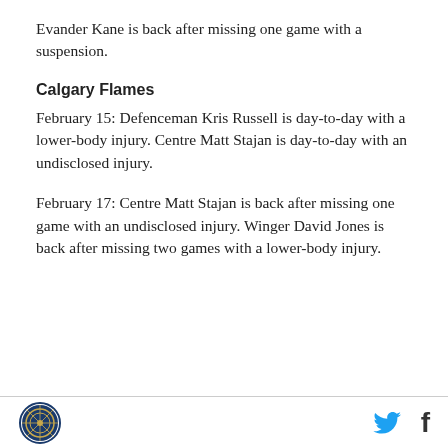Evander Kane is back after missing one game with a suspension.
Calgary Flames
February 15: Defenceman Kris Russell is day-to-day with a lower-body injury. Centre Matt Stajan is day-to-day with an undisclosed injury.
February 17: Centre Matt Stajan is back after missing one game with an undisclosed injury. Winger David Jones is back after missing two games with a lower-body injury.
Logo | Twitter | Facebook